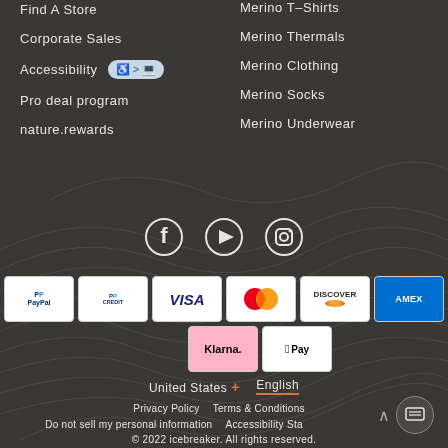Find A Store
Corporate Sales
Accessibility
Pro deal program
nature.rewards
Merino T-Shirts
Merino Thermals
Merino Clothing
Merino Socks
Merino Underwear
[Figure (infographic): Social media icons: Facebook, YouTube, Instagram]
[Figure (infographic): Payment method logos: PayPal, PayPal Credit, Visa, Mastercard, Discover, AMEX, Klarna, Apple Pay]
United States + English
Privacy Policy   Terms & Conditions   Do not sell my personal information   Accessibility Sta   © 2022 icebreaker. All rights reserved.